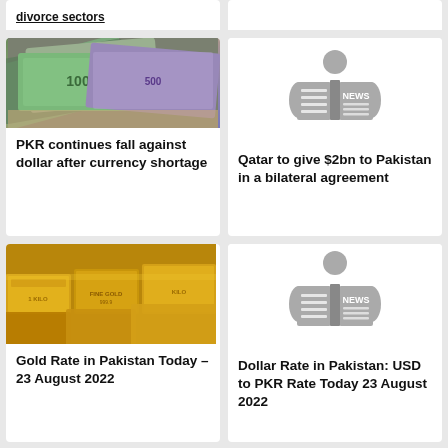divorce sectors
[Figure (photo): Hands holding Pakistani rupee and US dollar banknotes]
PKR continues fall against dollar after currency shortage
[Figure (illustration): News reader icon - person reading a newspaper labeled NEWS]
Qatar to give $2bn to Pakistan in a bilateral agreement
[Figure (photo): Gold bars/bullion stacked - gold rate news image]
Gold Rate in Pakistan Today – 23 August 2022
[Figure (illustration): News reader icon - person reading a newspaper labeled NEWS]
Dollar Rate in Pakistan: USD to PKR Rate Today 23 August 2022